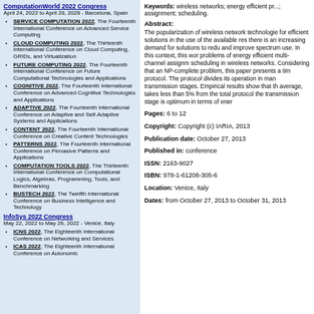ComputationWorld 2022 Congress
April 24, 2022 to April 28, 2022 - Barcelona, Spain
SERVICE COMPUTATION 2022, The Fourteenth International Conference on Advanced Service Computing
CLOUD COMPUTING 2022, The Thirteenth International Conference on Cloud Computing, GRIDs, and Virtualization
FUTURE COMPUTING 2022, The Fourteenth International Conference on Future Computational Technologies and Applications
COGNITIVE 2022, The Fourteenth International Conference on Advanced Cognitive Technologies and Applications
ADAPTIVE 2022, The Fourteenth International Conference on Adaptive and Self-Adaptive Systems and Applications
CONTENT 2022, The Fourteenth International Conference on Creative Content Technologies
PATTERNS 2022, The Fourteenth International Conference on Pervasive Patterns and Applications
COMPUTATION TOOLS 2022, The Thirteenth International Conference on Computational Logics, Algebras, Programming, Tools, and Benchmarking
BUSTECH 2022, The Twelfth International Conference on Business Intelligence and Technology
InfoSys 2022 Congress
May 22, 2022 to May 26, 2022 - Venice, Italy
ICNS 2022, The Eighteenth International Conference on Networking and Services
ICAS 2022, The Eighteenth International Conference on Autonomic
Keywords: wireless networks; energy efficient pr...; assignment; scheduling.
Abstract:
The popularization of wireless network technologies for efficient solutions in the use of the available resources, there is an increasing demand for solutions to reduce and improve spectrum use. In this context, this work problems of energy efficient multi-channel assignment scheduling in wireless networks. Considering that an NP-complete problem, this paper presents a time protocol. The protocol divides its operation in many transmission stages. Empirical results show that the average, takes less than 5% from the total protocol the transmission stage is optimum in terms of energy
Pages: 6 to 12
Copyright: Copyright (c) IARIA, 2013
Publication date: October 27, 2013
Published in: conference
ISSN: 2163-9027
ISBN: 978-1-61208-305-6
Location: Venice, Italy
Dates: from October 27, 2013 to October 31, 2013